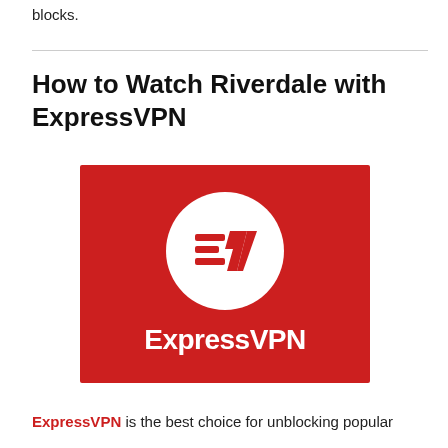blocks.
How to Watch Riverdale with ExpressVPN
[Figure (logo): ExpressVPN logo: red background with white circle containing the ExpressVPN 'EV' icon, and 'ExpressVPN' wordmark in white below]
ExpressVPN is the best choice for unblocking popular